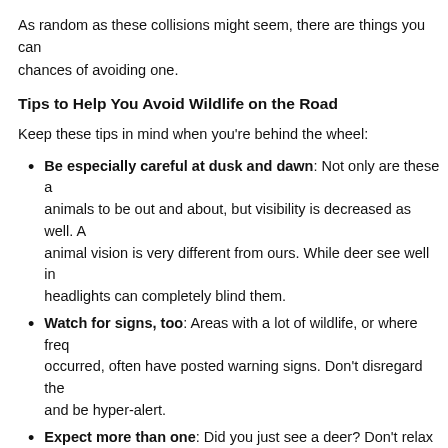As random as these collisions might seem, there are things you can do to improve your chances of avoiding one.
Tips to Help You Avoid Wildlife on the Road
Keep these tips in mind when you're behind the wheel:
Be especially careful at dusk and dawn: Not only are these a times for animals to be out and about, but visibility is decreased as well. Also, animal vision is very different from ours. While deer see well in the dark, headlights can completely blind them.
Watch for signs, too: Areas with a lot of wildlife, or where frequent collisions have occurred, often have posted warning signs. Don't disregard them — slow down and be hyper-alert.
Expect more than one: Did you just see a deer? Don't relax just because you didn't hit it — there likely are more in the area.
Stay calm: If an animal is in the roadway, try not to swerve wildly — you could hit something else, such as another car, or end up in a more dangerous position than you were before. Hit the brakes and the horn, and make safe maneuvers when possible.
What to Do After an Animal-Vehicle Collision